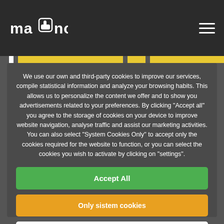[Figure (logo): Mano logo — stylized hand icon with text 'ma' and 'no' in rounded square font]
We use our own and third-party cookies to improve our services, compile statistical information and analyze your browsing habits. This allows us to personalize the content we offer and to show you advertisements related to your preferences. By clicking "Accept all" you agree to the storage of cookies on your device to improve website navigation, analyse traffic and assist our marketing activities. You can also select "System Cookies Only" to accept only the cookies required for the website to function, or you can select the cookies you wish to activate by clicking on "settings".
Accept All
Only sistem cookies
Configuration